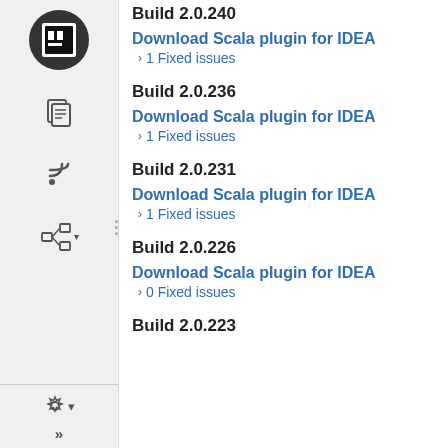Build 2.0.240
Download Scala plugin for IDEA
1 Fixed issues
Build 2.0.236
Download Scala plugin for IDEA
1 Fixed issues
Build 2.0.231
Download Scala plugin for IDEA
1 Fixed issues
Build 2.0.226
Download Scala plugin for IDEA
0 Fixed issues
Build 2.0.223